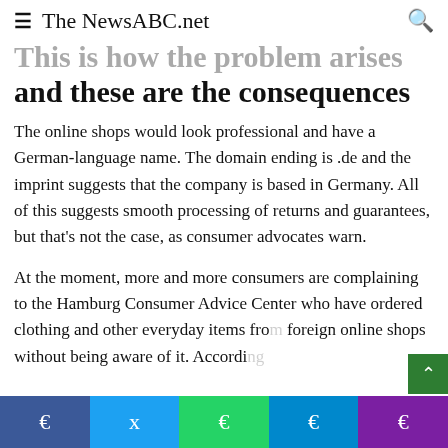The NewsABC.net
This is how the problem arises and these are the consequences
The online shops would look professional and have a German-language name. The domain ending is .de and the imprint suggests that the company is based in Germany. All of this suggests smooth processing of returns and guarantees, but that's not the case, as consumer advocates warn.
At the moment, more and more consumers are complaining to the Hamburg Consumer Advice Center who have ordered clothing and other everyday items from foreign online shops without being aware of it. Accordi…